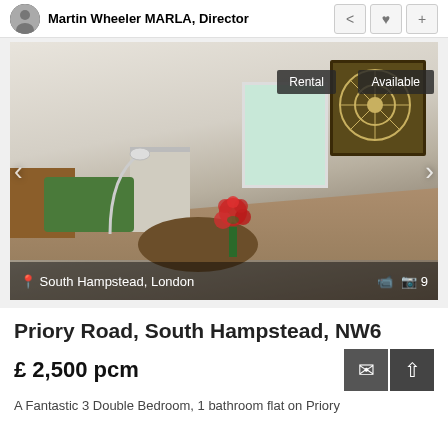Martin Wheeler MARLA, Director
[Figure (photo): Interior photo of a furnished living/dining room with green sofa, decorative wall art, flowers on a round table, fireplace. Overlaid with location 'South Hampstead, London', badges 'Rental' and 'Available', navigation arrows, and media count icon showing 9 photos.]
Priory Road, South Hampstead, NW6
£ 2,500 pcm
A Fantastic 3 Double Bedroom, 1 bathroom flat on Priory